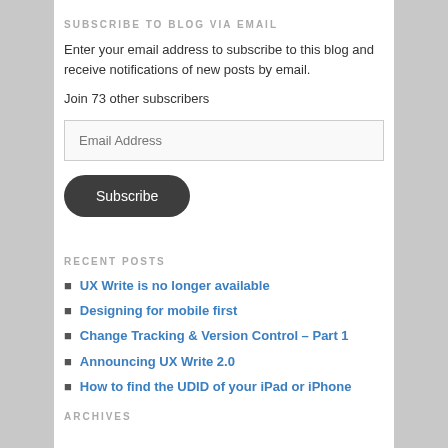SUBSCRIBE TO BLOG VIA EMAIL
Enter your email address to subscribe to this blog and receive notifications of new posts by email.
Join 73 other subscribers
RECENT POSTS
UX Write is no longer available
Designing for mobile first
Change Tracking & Version Control – Part 1
Announcing UX Write 2.0
How to find the UDID of your iPad or iPhone
ARCHIVES